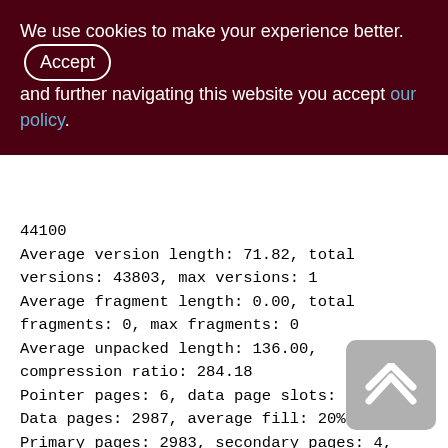We use cookies to make your experience better. By accepting and further navigating this website you accept our policy.
44100
Average version length: 71.82, total versions: 43803, max versions: 1
Average fragment length: 0.00, total fragments: 0, max fragments: 0
Average unpacked length: 136.00, compression ratio: 284.18
Pointer pages: 6, data page slots: 8248
Data pages: 2987, average fill: 20%
Primary pages: 2983, secondary pages: 4, swept pages: 1537
Empty pages: 1794, full pages: 519
Fill distribution: